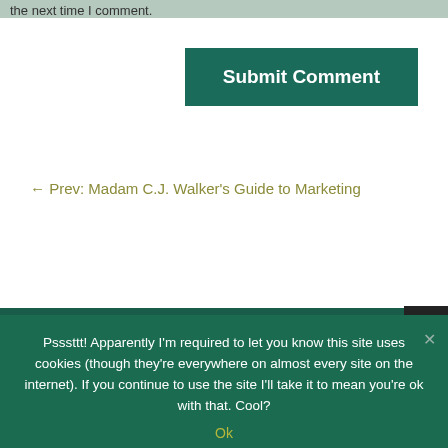the next time I comment.
Submit Comment
← Prev: Madam C.J. Walker's Guide to Marketing
Psssttt! Apparently I'm required to let you know this site uses cookies (though they're everywhere on almost every site on the internet). If you continue to use the site I'll take it to mean you're ok with that. Cool?
Ok